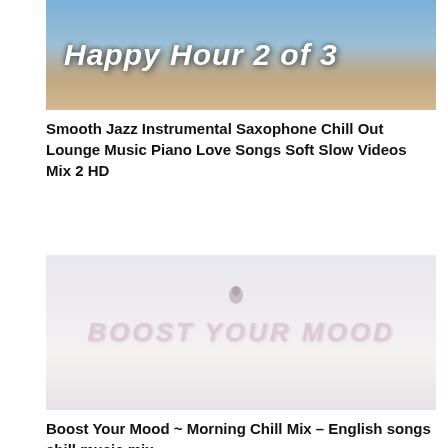[Figure (photo): Thumbnail image with sunset/sky background showing text 'Happy Hour 2 of 3' in bold italic white font]
Smooth Jazz Instrumental Saxophone Chill Out Lounge Music Piano Love Songs Soft Slow Videos Mix 2 HD
[Figure (photo): Thumbnail image with light/washed out background showing text 'BOOST YOUR MOOD' in italic style, with a faint road and bird silhouette]
Boost Your Mood ~ Morning Chill Mix – English songs chill music mix